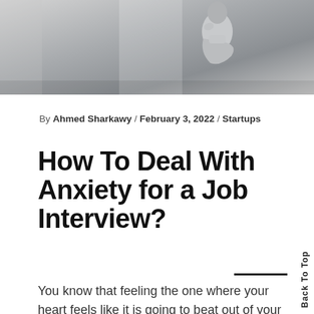[Figure (photo): A person in a light grey turtleneck sweater, leaning against a wall with arms crossed and hand on chin, appearing contemplative or anxious, photographed in a bright interior setting.]
By Ahmed Sharkawy / February 3, 2022 / Startups
How To Deal With Anxiety for a Job Interview?
You know that feeling the one where your heart feels like it is going to beat out of your chest and you can hardly breathe? It seems suddenly like the